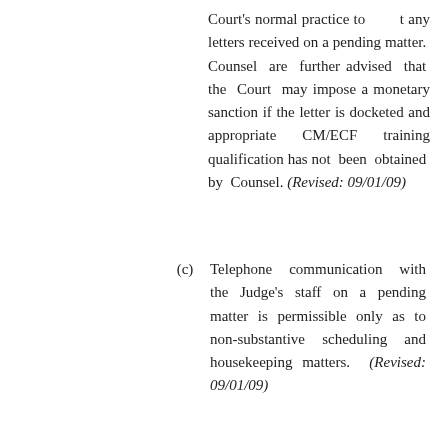Court's normal practice to [post] any letters received on a pending matter. Counsel are further advised that the Court may impose a monetary sanction if the letter is docketed and appropriate CM/ECF training qualification has not been obtained by Counsel. (Revised: 09/01/09)
(c) Telephone communication with the Judge's staff on a pending matter is permissible only as to non-substantive scheduling and housekeeping matters. (Revised: 09/01/09)